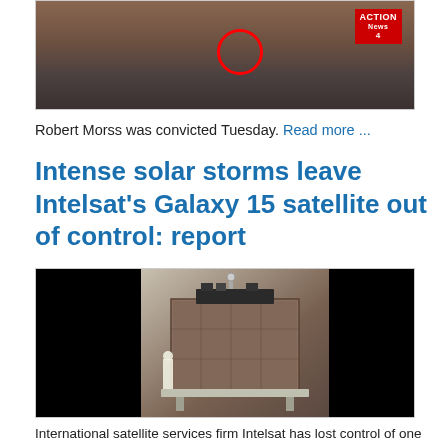[Figure (photo): News broadcast screenshot showing people in military/tactical gear with a red circle highlighting one person, with a Pittsburgh Action News 4 logo in top right corner]
Robert Morss was convicted Tuesday. Read more ...
Intense solar storms leave Intelsat's Galaxy 15 satellite out of control: report
[Figure (photo): Photo of Intelsat Galaxy 15 satellite on the ground, a large box-shaped satellite with thermal blankets, flanked by black panels, with a technician in white coat visible]
International satellite services firm Intelsat has lost control of one of its broadcast satellites after it was presumably disabled by space weather. Read more...